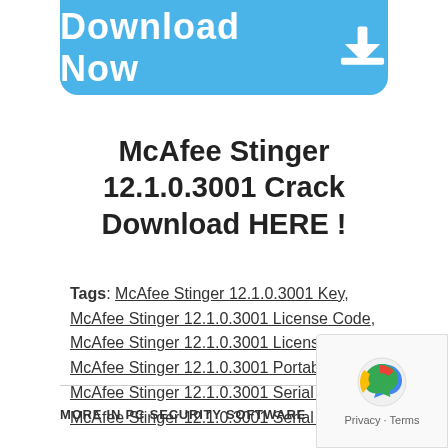[Figure (other): Blue rounded button with white bold text 'Download Now' and a download arrow icon]
McAfee Stinger 12.1.0.3001 Crack Download HERE !
Tags: McAfee Stinger 12.1.0.3001 Key, McAfee Stinger 12.1.0.3001 License Code, McAfee Stinger 12.1.0.3001 License Key, McAfee Stinger 12.1.0.3001 Portable, McAfee Stinger 12.1.0.3001 Serial Key, McAfee Stinger 12.1.0.3001 Serial Number
MORE IN PC SECURITY SOFTWARE